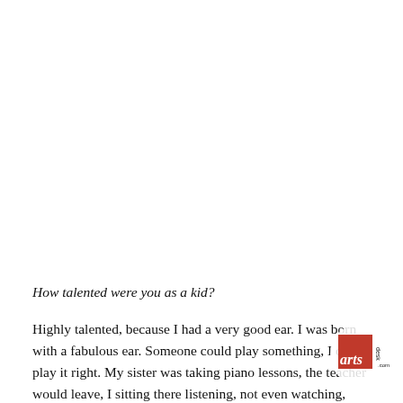How talented were you as a kid?
Highly talented, because I had a very good ear. I was born with a fabulous ear. Someone could play something, I could play it right. My sister was taking piano lessons, the teacher would leave, I sitting there listening, not even watching, then I could go to the and I could play the notes. It was in the family. My father was a musician. This was not something I worked at all.